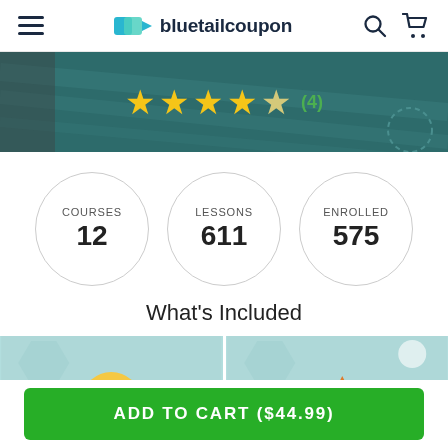bluetailcoupon
[Figure (screenshot): Course hero banner with dark teal background and 4.5 star rating (4 reviews)]
COURSES 12
LESSONS 611
ENROLLED 575
What's Included
[Figure (illustration): Two course card thumbnails with light teal background and decorative icons]
ADD TO CART ($44.99)